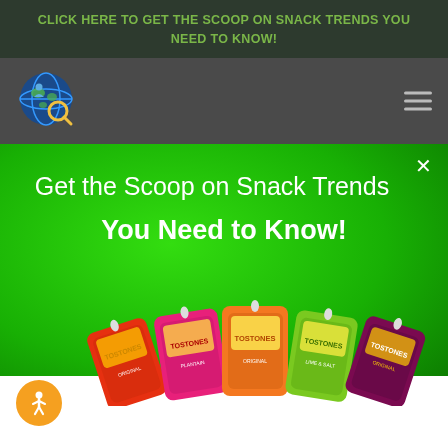CLICK HERE to Get the Scoop on Snack Trends You Need to Know!
[Figure (logo): Globe/earth logo icon with magnifying glass]
[Figure (infographic): Hamburger menu icon (three horizontal lines)]
Get the Scoop on Snack Trends
You Need to Know!
[Figure (photo): Five colorful bags of Tostones snacks arranged in a fan: red, pink, orange, green, purple/dark red bags]
[Figure (logo): Accessibility icon - orange circle with white person figure]